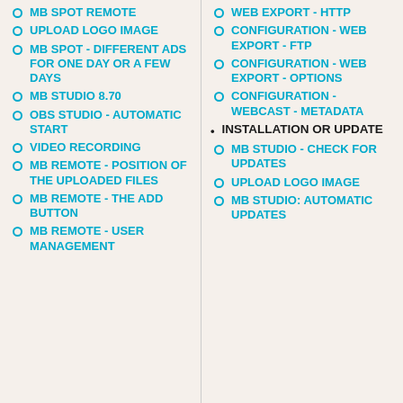MB SPOT REMOTE
UPLOAD LOGO IMAGE
MB SPOT - DIFFERENT ADS FOR ONE DAY OR A FEW DAYS
MB STUDIO 8.70
OBS STUDIO - AUTOMATIC START
VIDEO RECORDING
MB REMOTE - POSITION OF THE UPLOADED FILES
MB REMOTE - THE ADD BUTTON
MB REMOTE - USER MANAGEMENT
WEB EXPORT - HTTP
CONFIGURATION - WEB EXPORT - FTP
CONFIGURATION - WEB EXPORT - OPTIONS
CONFIGURATION - WEBCAST - METADATA
INSTALLATION OR UPDATE
MB STUDIO - CHECK FOR UPDATES
UPLOAD LOGO IMAGE
MB STUDIO: AUTOMATIC UPDATES